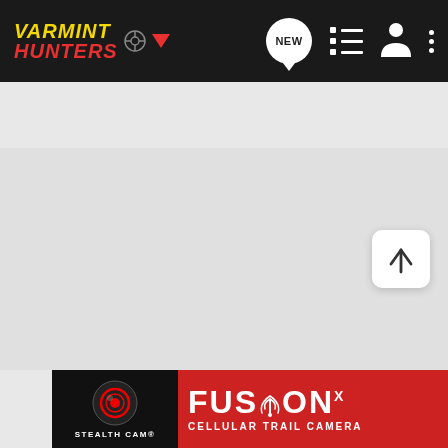[Figure (screenshot): Varmint Hunters community website navigation bar with yellow/red logo, NEW speech bubble, list icon, person icon, and dots icon on dark background]
Search Community
[Figure (screenshot): Main content area - empty light gray forum/community page area]
[Figure (screenshot): Back to top button (up arrow) in white rounded square, bottom right]
[Figure (photo): Stealth Cam FusionX Cellular Trail Camera advertisement banner — black left panel with Stealth Cam logo, red right panel with FUSION X and CELLULAR TRAIL CAMERA text]